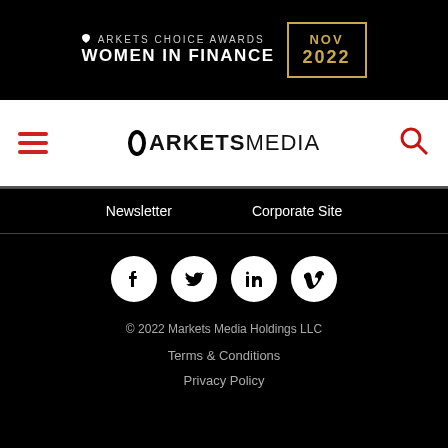[Figure (logo): Markets Choice Awards Women in Finance NOV 2022 banner on black background with gold date box]
MARKETS CHOICE AWARDS WOMEN IN FINANCE NOV 2022
[Figure (logo): MarketsMedia logo with hamburger menu and search icon]
Newsletter  Corporate Site  [social icons: Facebook, Twitter, LinkedIn, Vimeo]  © 2022 Markets Media Holdings LLC  Terms & Conditions  Privacy Policy